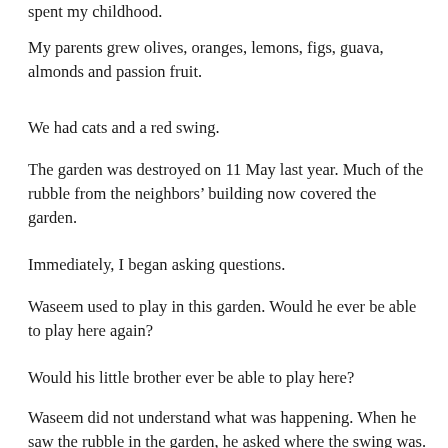spent my childhood.
My parents grew olives, oranges, lemons, figs, guava, almonds and passion fruit.
We had cats and a red swing.
The garden was destroyed on 11 May last year. Much of the rubble from the neighbors' building now covered the garden.
Immediately, I began asking questions.
Waseem used to play in this garden. Would he ever be able to play here again?
Would his little brother ever be able to play here?
Waseem did not understand what was happening. When he saw the rubble in the garden, he asked where the swing was.